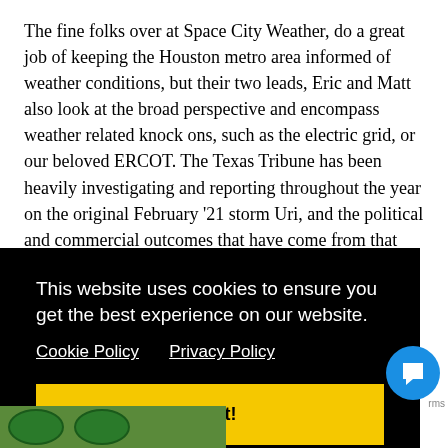The fine folks over at Space City Weather, do a great job of keeping the Houston metro area informed of weather conditions, but their two leads, Eric and Matt also look at the broad perspective and encompass weather related knock ons, such as the electric grid, or our beloved ERCOT. The Texas Tribune has been heavily investigating and reporting throughout the year on the original February '21 storm Uri, and the political and commercial outcomes that have come from that deadly storm, or lack thereof.
So, now we are nearing the anniversary of one of the worst
This website uses cookies to ensure you get the best experience on our website.
Cookie Policy   Privacy Policy
Got it!